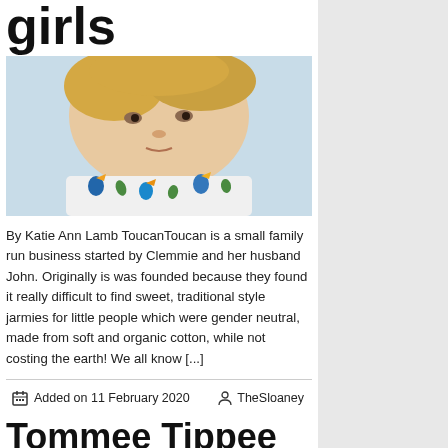girls
[Figure (photo): Close-up photo of a baby/toddler wearing a white outfit with colorful toucan bird print pattern]
By Katie Ann Lamb ToucanToucan is a small family run business started by Clemmie and her husband John. Originally is was founded because they found it really difficult to find sweet, traditional style jarmies for little people which were gender neutral, made from soft and organic cotton, while not costing the earth! We all know [...]
Added on 11 February 2020   TheSloaney
Tommee Tippee invites parents to